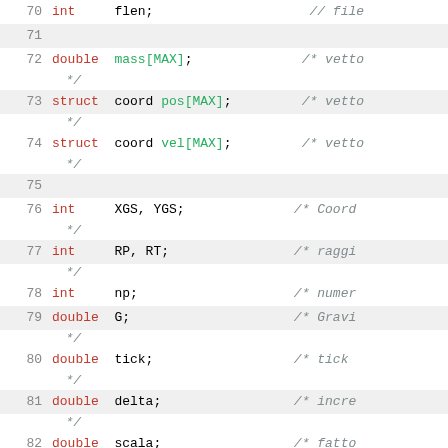70  int     flen;                    // file
71
72  double  mass[MAX];              /* vetto
    */
73  struct  coord pos[MAX];         /* vetto
    */
74  struct  coord vel[MAX];         /* vetto
    */
75
76  int     XGS, YGS;              /* Coord
    */
77  int     RP, RT;                /* raggi
    */
78  int     np;                    /* numer
79  double  G;                     /* Gravi
    */
80  double  tick;                  /* tick
    */
81  double  delta;                 /* incre
    */
82  double  scala;                 /* fatto
    */
83
84  // ---...